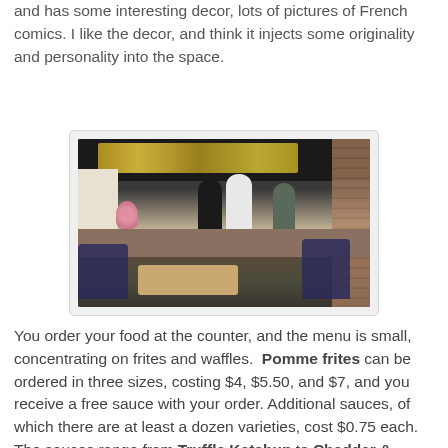and has some interesting decor, lots of pictures of French comics. I like the decor, and think it injects some originality and personality into the space.
[Figure (photo): Interior of a restaurant showing a counter ordering area with menu boards above, staff behind the counter, customers ordering, wooden tables and dark blue chairs in the foreground.]
You order your food at the counter, and the menu is small, concentrating on frites and waffles. Pomme frites can be ordered in three sizes, costing $4, $5.50, and $7, and you receive a free sauce with your order. Additional sauces, of which there are at least a dozen varieties, cost $0.75 each. The sauces range from Truffle Ketchup to Cheddar & Duvel Ale. You can also get Poutine, in two sizes costing either $6 or $8. There is also the option of getting a